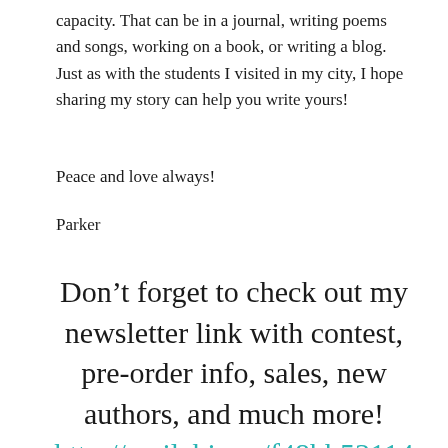capacity. That can be in a journal, writing poems and songs, working on a book, or writing a blog. Just as with the students I visited in my city, I hope sharing my story can help you write yours!
Peace and love always!
Parker
Don’t forget to check out my newsletter link with contest, pre-order info, sales, new authors, and much more! http://mailchi.mp/f48bb53114